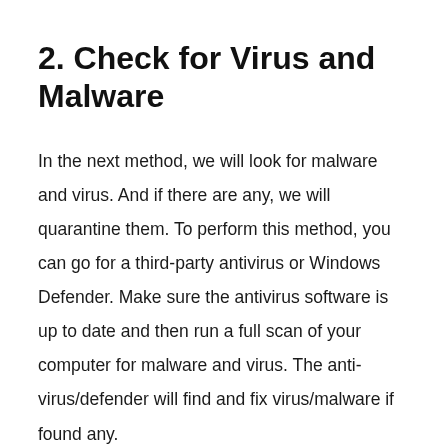2. Check for Virus and Malware
In the next method, we will look for malware and virus. And if there are any, we will quarantine them. To perform this method, you can go for a third-party antivirus or Windows Defender. Make sure the antivirus software is up to date and then run a full scan of your computer for malware and virus. The anti-virus/defender will find and fix virus/malware if found any.